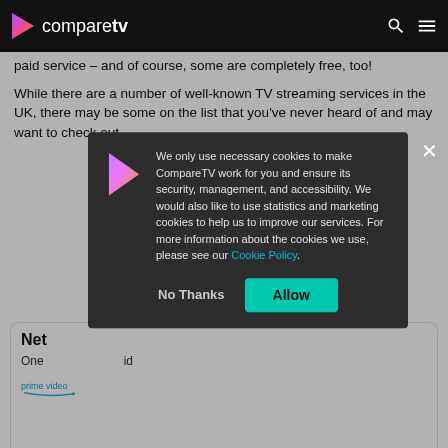comparetv
paid service – and of course, some are completely free, too!
While there are a number of well-known TV streaming services in the UK, there may be some on the list that you've never heard of and may want to check out.
Net
One
[Figure (logo): Amazon Prime Video logo]
We only use necessary cookies to make CompareTV work for you and ensure its security, management, and accessibility. We would also like to use statistics and marketing cookies to help us to improve our services. For more information about the cookies we use, please see our Cookie Policy.